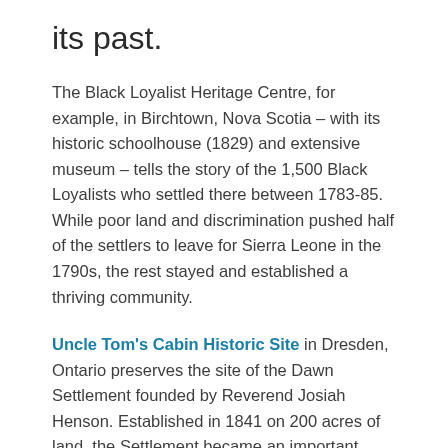its past.
The Black Loyalist Heritage Centre, for example, in Birchtown, Nova Scotia – with its historic schoolhouse (1829) and extensive museum – tells the story of the 1,500 Black Loyalists who settled there between 1783-85. While poor land and discrimination pushed half of the settlers to leave for Sierra Leone in the 1790s, the rest stayed and established a thriving community.
Uncle Tom's Cabin Historic Site in Dresden, Ontario preserves the site of the Dawn Settlement founded by Reverend Josiah Henson. Established in 1841 on 200 acres of land, the Settlement became an important refuge for the many fugitives from slavery who escaped to Canada from the